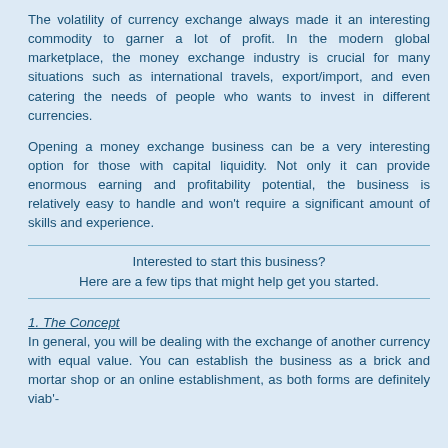The volatility of currency exchange always made it an interesting commodity to garner a lot of profit. In the modern global marketplace, the money exchange industry is crucial for many situations such as international travels, export/import, and even catering the needs of people who wants to invest in different currencies.
Opening a money exchange business can be a very interesting option for those with capital liquidity. Not only it can provide enormous earning and profitability potential, the business is relatively easy to handle and won't require a significant amount of skills and experience.
Interested to start this business?
Here are a few tips that might help get you started.
1. The Concept
In general, you will be dealing with the exchange of another currency with equal value. You can establish the business as a brick and mortar shop or an online establishment, as both forms are definitely viab'-